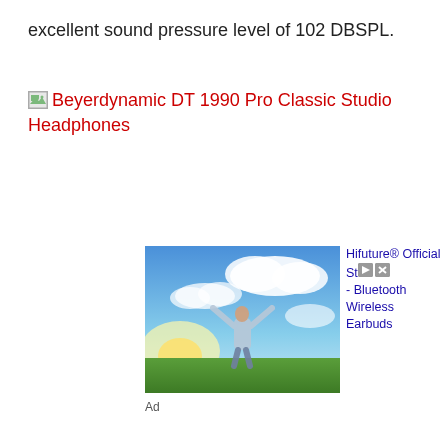excellent sound pressure level of 102 DBSPL.
[Figure (other): Broken image placeholder for Beyerdynamic DT1990 Pro Classic Studio Headphones]
Beyerdynamic DT 1990 Pro Classic Studio Headphones
[Figure (photo): Advertisement photo showing a person standing on green grass with arms raised, under a blue sky with clouds and bright sunlight. Ad for Hifuture Official Store - Bluetooth Wireless Earbuds]
Hifuture® Official Store - Bluetooth Wireless Earbuds
Ad